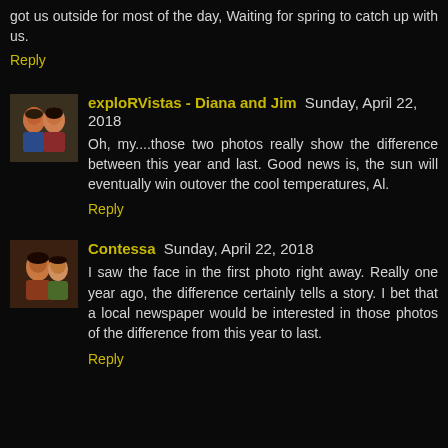got us outside for most of the day, Waiting for spring to catch up with us.
Reply
exploRVistas - Diana and Jim  Sunday, April 22, 2018
Oh, my....those two photos really show the difference between this year and last. Good news is, the sun will eventually win outover the cool temperatures, Al.
Reply
Contessa  Sunday, April 22, 2018
I saw the face in the first photo right away. Really one year ago, the difference certainly tells a story. I bet that a local newspaper would be interested in those photos of the difference from this year to last.
Reply